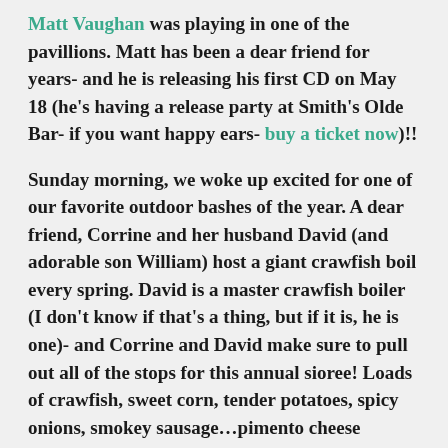Matt Vaughan was playing in one of the pavillions. Matt has been a dear friend for years- and he is releasing his first CD on May 18 (he's having a release party at Smith's Olde Bar- if you want happy ears- buy a ticket now)!!
Sunday morning, we woke up excited for one of our favorite outdoor bashes of the year. A dear friend, Corrine and her husband David (and adorable son William) host a giant crawfish boil every spring. David is a master crawfish boiler (I don't know if that's a thing, but if it is, he is one)- and Corrine and David make sure to pull out all of the stops for this annual sioree! Loads of crawfish, sweet corn, tender potatoes, spicy onions, smokey sausage…pimento cheese sandwiches, caramel cupcakes…and most